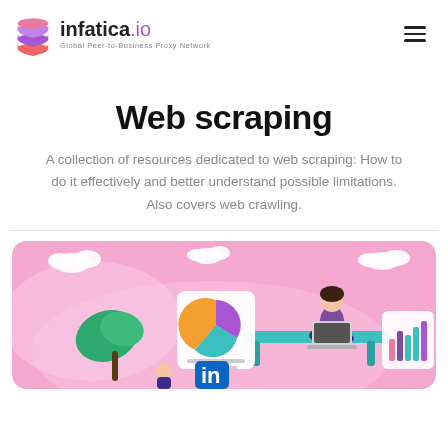[Figure (logo): Infatica.io logo with stacked layers icon and tagline 'Global Peer-to-Business Proxy Network']
Web scraping
A collection of resources dedicated to web scraping: How to do it effectively and better understand possible limitations. Also covers web crawling.
[Figure (illustration): Colorful illustration with pink background showing a person sitting cross-legged on a desk with a laptop, a pie chart, LinkedIn logo, bar chart, plant, clouds, and another person below.]